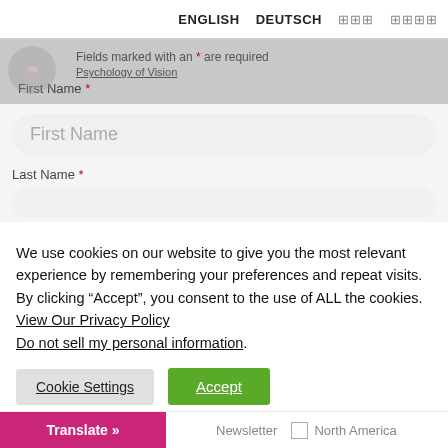ENGLISH   DEUTSCH   □□□   □□□□
Fields marked with an * are required
First Name *
[Figure (screenshot): First Name text input field with placeholder text 'First Name']
Last Name *
We use cookies on our website to give you the most relevant experience by remembering your preferences and repeat visits. By clicking “Accept”, you consent to the use of ALL the cookies. View Our Privacy Policy
Do not sell my personal information.
Cookie Settings
Accept
Translate »   Newsletter   North America